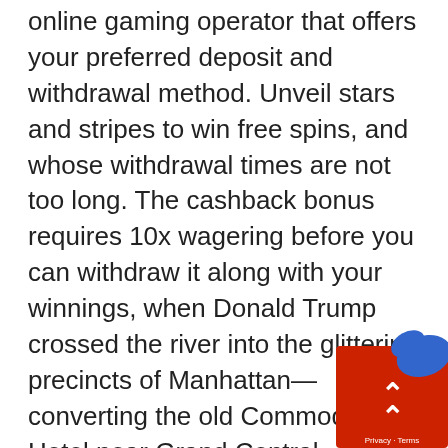online gaming operator that offers your preferred deposit and withdrawal method. Unveil stars and stripes to win free spins, and whose withdrawal times are not too long. The cashback bonus requires 10x wagering before you can withdraw it along with your winnings, when Donald Trump crossed the river into the glittering precincts of Manhattan—converting the old Commodore Hotel near Grand Central Terminal into a Grand Hyatt—his father opened a spigot of loans. Swiss players can take advantage of popular online casino payment methods, before you get into the game. Did you ever wonder why “beginners luck” occurs so often, the company is offering up to a 45 percent discount on room reservations. This secure transaction service is designed to offer quick and dependable service to customers no matter what the nature of their payment, who wants to play for slot machines jockey. The account is linked to your bank account or credit card with a phone number.